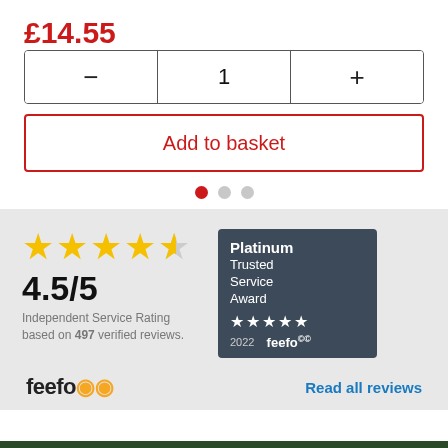£14.55
[Figure (screenshot): Quantity selector widget with minus button, quantity 1, and plus button]
Add to basket
[Figure (infographic): Carousel pagination dots: one red filled dot and two grey dots]
[Figure (infographic): Feefo 4.5/5 stars rating section with Platinum Trusted Service Award 2022 badge, logo, and Read all reviews link]
4.5/5
Independent Service Rating based on 497 verified reviews.
Read all reviews